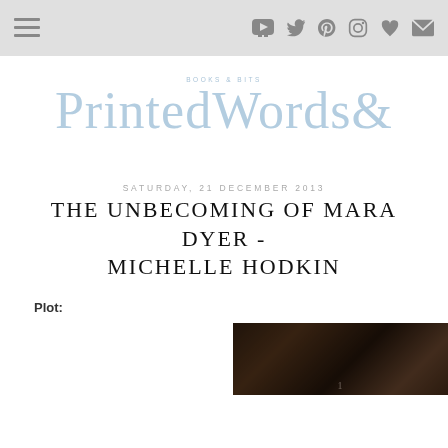Navigation bar with menu icon and social media icons (YouTube, Twitter, Pinterest, Instagram, heart/wishlist, email)
[Figure (logo): Printed Words & blog logo in light blue cursive/script font with small subtitle text above]
SATURDAY, 21 DECEMBER 2013
THE UNBECOMING OF MARA DYER - MICHELLE HODKIN
Plot:
[Figure (photo): Partial photo of book cover or related image at bottom right of page, dark toned]